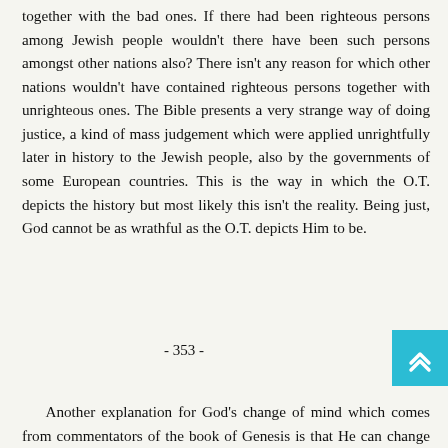together with the bad ones. If there had been righteous persons among Jewish people wouldn't there have been such persons amongst other nations also? There isn't any reason for which other nations wouldn't have contained righteous persons together with unrighteous ones. The Bible presents a very strange way of doing justice, a kind of mass judgement which were applied unrightfully later in history to the Jewish people, also by the governments of some European countries. This is the way in which the O.T. depicts the history but most likely this isn't the reality. Being just, God cannot be as wrathful as the O.T. depicts Him to be.
- 353 -
Another explanation for God's change of mind which comes from commentators of the book of Genesis is that He can change His